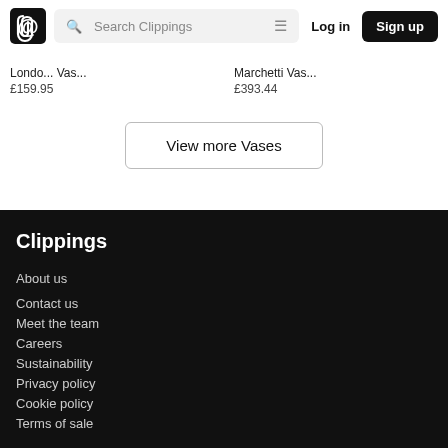Search Clippings | Log in | Sign up
Londo... Vas... £159.95
Marchetti Vas... £393.44
View more Vases
Clippings
About us
Contact us
Meet the team
Careers
Sustainability
Privacy policy
Cookie policy
Terms of sale